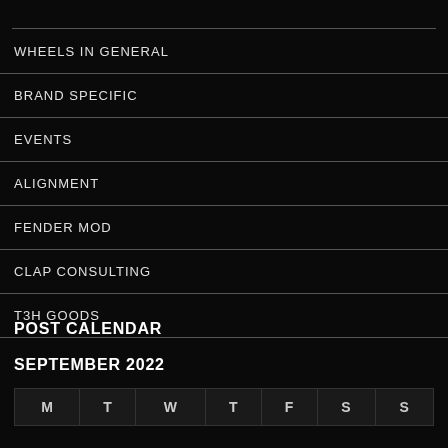WHEELS IN GENERAL
BRAND SPECIFIC
EVENTS
ALIGNMENT
FENDER MOD
CLAP CONSULTING
T3H GOODS
POST CALENDAR
SEPTEMBER 2022
| M | T | W | T | F | S | S |
| --- | --- | --- | --- | --- | --- | --- |